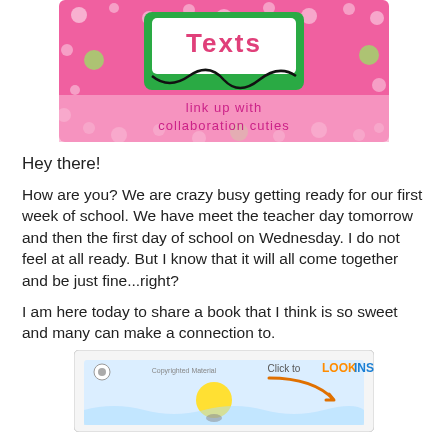[Figure (illustration): Pink polka-dot background banner with green rectangle in center containing 'Texts' title, black curly decorative line, and pink text reading 'link up with collaboration cuties']
Hey there!
How are you?  We are crazy busy getting ready for our first week of school.  We have meet the teacher day tomorrow and then the first day of school on Wednesday.  I do not feel at all ready.  But I know that it will all come together and be just fine...right?
I am here today to share a book that I think is so sweet and many can make a connection to.
[Figure (screenshot): Book product image with 'Click to LOOK INSIDE!' button and arrow, showing a children's book cover with illustrated characters on blue/white background. Small copyright watermark visible.]